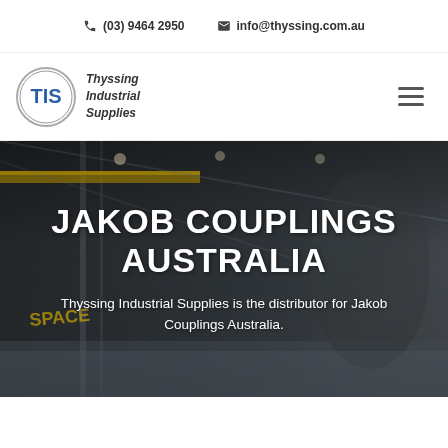(03) 9464 2950   info@thyssing.com.au
[Figure (logo): Thyssing Industrial Supplies TIS circular logo with text 'Thyssing Industrial Supplies']
[Figure (photo): Industrial facility interior with large rocket on launch stand, SpaceX facility, dark background with structural steel and overhead cranes]
JAKOB COUPLINGS AUSTRALIA
Thyssing Industrial Supplies is the distributor for Jakob Couplings Australia.